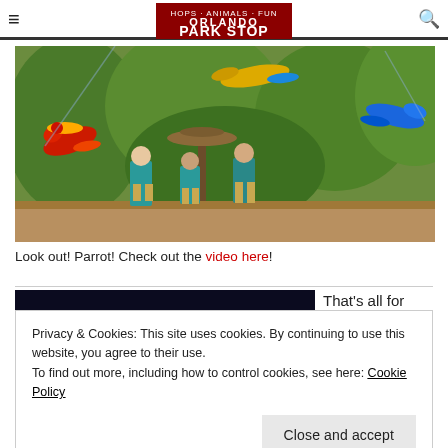Orlando Park Stop
[Figure (photo): Two zoo staff in teal shirts standing near a decorative fountain in lush tropical greenery, with colorful parrots (macaws) flying overhead]
Look out! Parrot! Check out the video here!
[Figure (photo): Dark image, mostly black/dark blue background]
That's all for this updat
Privacy & Cookies: This site uses cookies. By continuing to use this website, you agree to their use.
To find out more, including how to control cookies, see here: Cookie Policy
Close and accept